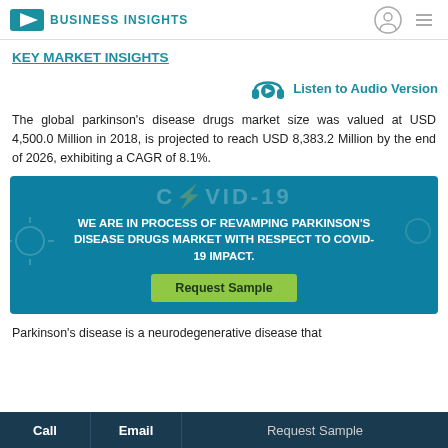BUSINESS INSIGHTS
KEY MARKET INSIGHTS
[Figure (other): Headphones icon with play button and 'Listen to Audio Version' label in teal]
The global parkinson’s disease drugs market size was valued at USD 4,500.0 Million in 2018, is projected to reach USD 8,383.2 Million by the end of 2026, exhibiting a CAGR of 8.1%.
[Figure (infographic): COVID-19 teal banner with decorative COVID-19 text, message: WE ARE IN PROCESS OF REVAMPING PARKINSON’S DISEASE DRUGS MARKET WITH RESPECT TO COVID-19 IMPACT. Green Request Sample button.]
Parkinson’s disease is a neurodegenerative disease that
Call   Email   Request Sample